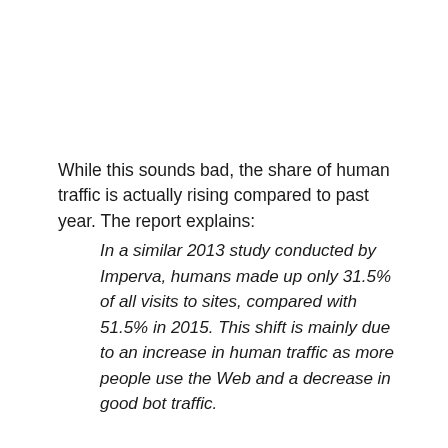While this sounds bad, the share of human traffic is actually rising compared to past year. The report explains:
In a similar 2013 study conducted by Imperva, humans made up only 31.5% of all visits to sites, compared with 51.5% in 2015. This shift is mainly due to an increase in human traffic as more people use the Web and a decrease in good bot traffic.